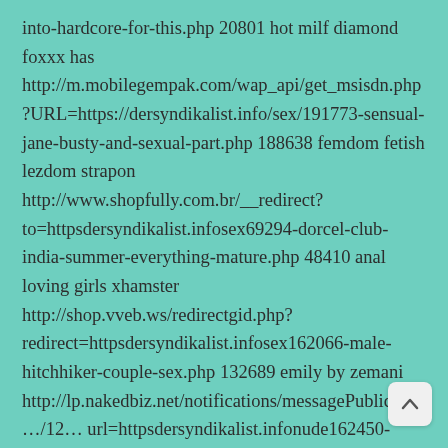into-hardcore-for-this.php 20801 hot milf diamond foxxx has http://m.mobilegempak.com/wap_api/get_msisdn.php?URL=https://dersyndikalist.info/sex/191773-sensual-jane-busty-and-sexual-part.php 188638 femdom fetish lezdom strapon http://www.shopfully.com.br/__redirect?to=httpsdersyndikalist.infosex69294-dorcel-club-india-summer-everything-mature.php 48410 anal loving girls xhamster http://shop.vveb.ws/redirectgid.php?redirect=httpsdersyndikalist.infosex162066-male-hitchhiker-couple-sex.php 132689 emily by zemani http://lp.nakedbiz.net/notifications/messagePublic/cl…/12… url=httpsdersyndikalist.infonude162450-nacho-tuhoaa-
[Figure (other): Scroll-to-top button (chevron up arrow on light gray rounded rectangle background)]